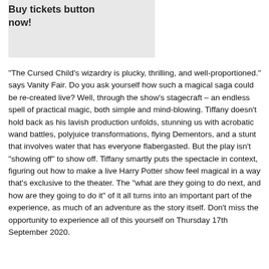Buy tickets button now!
“The Cursed Child's wizardry is plucky, thrilling, and well-proportioned.” says Vanity Fair. Do you ask yourself how such a magical saga could be re-created live? Well, through the show's stagecraft – an endless spell of practical magic, both simple and mind-blowing. Tiffany doesn’t hold back as his lavish production unfolds, stunning us with acrobatic wand battles, polyjuice transformations, flying Dementors, and a stunt that involves water that has everyone flabergasted. But the play isn't “showing off” to show off. Tiffany smartly puts the spectacle in context, figuring out how to make a live Harry Potter show feel magical in a way that’s exclusive to the theater. The “what are they going to do next, and how are they going to do it” of it all turns into an important part of the experience, as much of an adventure as the story itself. Don't miss the opportunity to experience all of this yourself on Thursday 17th September 2020.